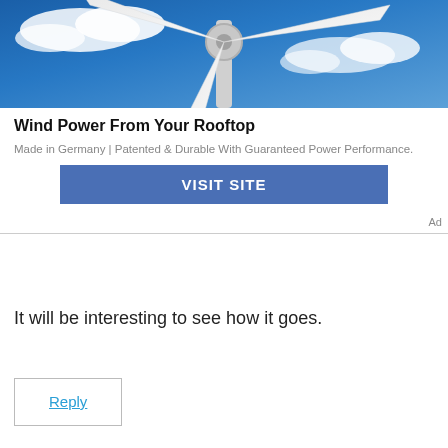[Figure (photo): Wind turbine close-up against blue sky with clouds, showing blades and hub]
Wind Power From Your Rooftop
Made in Germany | Patented & Durable With Guaranteed Power Performance.
VISIT SITE
Ad
It will be interesting to see how it goes.
Reply